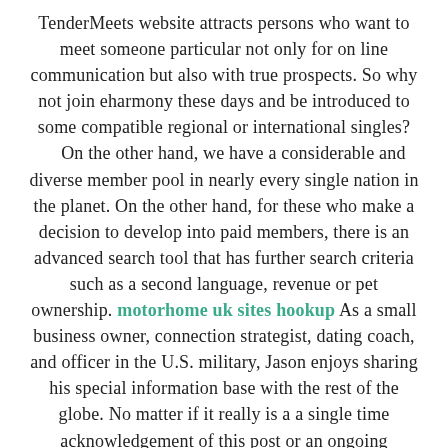TenderMeets website attracts persons who want to meet someone particular not only for on line communication but also with true prospects. So why not join eharmony these days and be introduced to some compatible regional or international singles? On the other hand, we have a considerable and diverse member pool in nearly every single nation in the planet. On the other hand, for these who make a decision to develop into paid members, there is an advanced search tool that has further search criteria such as a second language, revenue or pet ownership. motorhome uk sites hookup As a small business owner, connection strategist, dating coach, and officer in the U.S. military, Jason enjoys sharing his special information base with the rest of the globe. No matter if it really is a a single time acknowledgement of this post or an ongoing